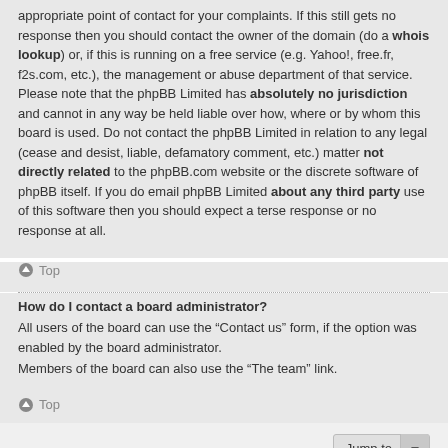appropriate point of contact for your complaints. If this still gets no response then you should contact the owner of the domain (do a whois lookup) or, if this is running on a free service (e.g. Yahoo!, free.fr, f2s.com, etc.), the management or abuse department of that service. Please note that the phpBB Limited has absolutely no jurisdiction and cannot in any way be held liable over how, where or by whom this board is used. Do not contact the phpBB Limited in relation to any legal (cease and desist, liable, defamatory comment, etc.) matter not directly related to the phpBB.com website or the discrete software of phpBB itself. If you do email phpBB Limited about any third party use of this software then you should expect a terse response or no response at all.
Top
How do I contact a board administrator?
All users of the board can use the “Contact us” form, if the option was enabled by the board administrator.
Members of the board can also use the “The team” link.
Top
Board index / Contact us / Delete cookies / All times are UTC-08:00